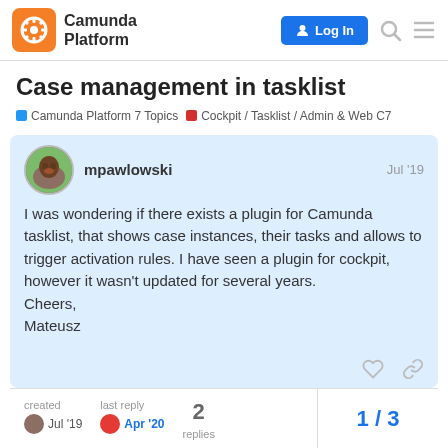Camunda Platform | Log In
Case management in tasklist
Camunda Platform 7 Topics  Cockpit / Tasklist / Admin & Web C7
mpawlowski  Jul '19
I was wondering if there exists a plugin for Camunda tasklist, that shows case instances, their tasks and allows to trigger activation rules. I have seen a plugin for cockpit, however it wasn't updated for several years.
Cheers,
Mateusz
created  Jul '19
last reply  Apr '20
2 replies
1 / 3